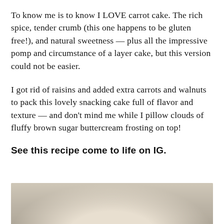To know me is to know I LOVE carrot cake. The rich spice, tender crumb (this one happens to be gluten free!), and natural sweetness — plus all the impressive pomp and circumstance of a layer cake, but this version could not be easier.
I got rid of raisins and added extra carrots and walnuts to pack this lovely snacking cake full of flavor and texture — and don't mind me while I pillow clouds of fluffy brown sugar buttercream frosting on top!
See this recipe come to life on IG.
[Figure (photo): Partial photo of a cake or dessert, bottom portion of page, showing a light beige/cream colored surface, cropped.]